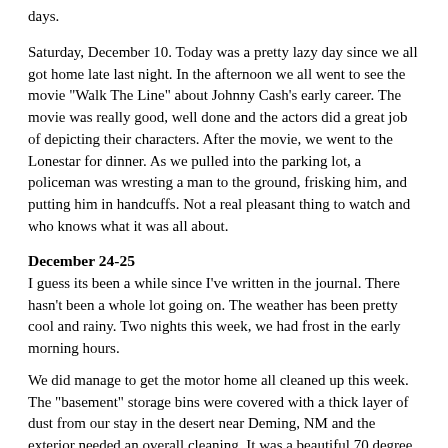days.
Saturday, December 10. Today was a pretty lazy day since we all got home late last night. In the afternoon we all went to see the movie "Walk The Line" about Johnny Cash's early career. The movie was really good, well done and the actors did a great job of depicting their characters. After the movie, we went to the Lonestar for dinner. As we pulled into the parking lot, a policeman was wresting a man to the ground, frisking him, and putting him in handcuffs. Not a real pleasant thing to watch and who knows what it was all about.
December 24-25
I guess its been a while since I've written in the journal. There hasn't been a whole lot going on. The weather has been pretty cool and rainy. Two nights this week, we had frost in the early morning hours.
We did manage to get the motor home all cleaned up this week. The "basement" storage bins were covered with a thick layer of dust from our stay in the desert near Deming, NM and the exterior needed an overall cleaning. It was a beautiful 70 degree day, so not a bad job to do.
Friday night we invited a number of friends. John and I out for